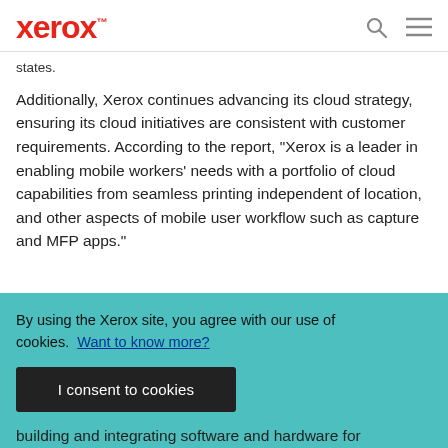Xerox™
states.
Additionally, Xerox continues advancing its cloud strategy, ensuring its cloud initiatives are consistent with customer requirements. According to the report, "Xerox is a leader in enabling mobile workers' needs with a portfolio of cloud capabilities from seamless printing independent of location, and other aspects of mobile user workflow such as capture and MFP apps."
By using the Xerox site, you agree with our use of cookies. Want to know more?
I consent to cookies
building and integrating software and hardware for